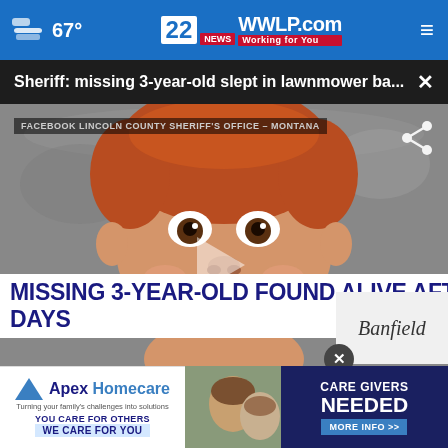67° | 22NEWS WWLP.com Working for You
Sheriff: missing 3-year-old slept in lawnmower ba...
[Figure (screenshot): News video thumbnail showing a smiling red-haired child with text overlay 'MIRACULOUS SURVIVAL' and chyron 'MISSING 3-YEAR-OLD FOUND ALIVE AFTER 2 DAYS'. Election ticker shows South Dakota US Senate Republican results: John Thune 73%, Bruce Whalen 20%, Mark Mowry 7%. Banfield and NewsNation logos visible.]
FACEBOOK LINCOLN COUNTY SHERIFF'S OFFICE - MONTANA
If Yo... May...
[Figure (advertisement): Apex Homecare advertisement: 'CARE GIVERS NEEDED MORE INFO >>']